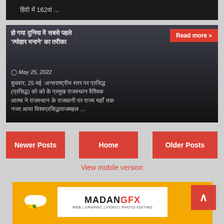हिंदी में 162वां ...
[Figure (photo): News article card with crowd/event photo background, Hindi headline text overlay, Read more button, date and excerpt]
हो गया दुनिया में सबसे पहले 'त्योहार मनाने' का तरीका
Read more »
© May 25, 2022
बुधवार, 25 मई :अन्तराष्ट्रीय स्तर पर प्रसिद्ध (प्रसिद्ध) देश देश के प्रमुख देशों में वैश्विक अत्यंत ने राजस्थान के राजधानी पर राज्य यहाँ तक नजर आया विश्व प्रसिद्धताजमहल ...
Newer Posts
Home
Older Posts
View mobile version
[Figure (logo): MadanGFX advertisement banner with orange background, logo showing MADAN in black and GFX in red, tagline WEB | GRAPHIC | VIDEO | PHOTO EDITING, cloud icon on left, pencil/arrow icon on right]